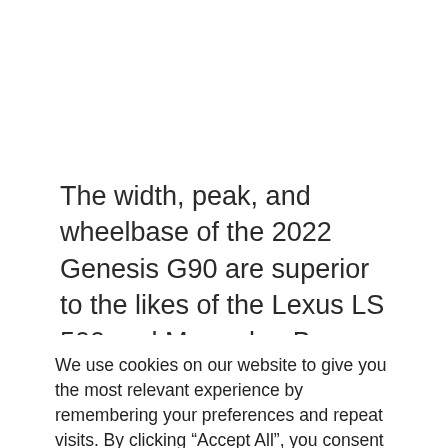The width, peak, and wheelbase of the 2022 Genesis G90 are superior to the likes of the Lexus LS 500 and Mercedes-Benz S-Class. It is usually very near the BMW 7 Collection.
We use cookies on our website to give you the most relevant experience by remembering your preferences and repeat visits. By clicking “Accept All”, you consent to the use of ALL the cookies. However, you may visit "Cookie Settings" to provide a controlled consent.